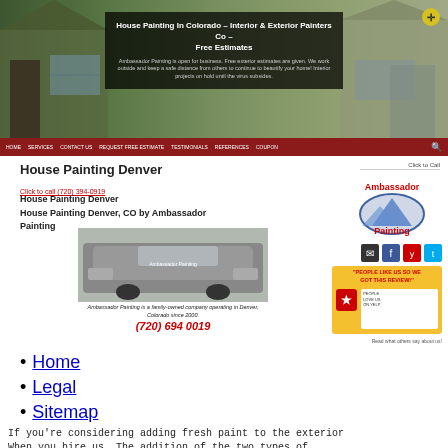[Figure (screenshot): Website header banner with house photo background, dark overlay box containing title and description text about Ambassador Painting in Colorado]
House Painting In Colorado – Interior & Exterior Painters Co – Free Estimates
Ambassador Painting is open for business. Free exterior estimates are given. We work outside and keep a safe distance from others to continue to beautify your home! Interior projects on hold until the virus subsides.
HOME  SERVICES  CONTACT US  REQUEST FREE ESTIMATE  TESTIMONIALS  REFERENCES  COUPON
House Painting Denver
Click to call (720) 394-0919
House Painting Denver
House Painting Denver, CO by Ambassador Painting
[Figure (photo): Photo of a dark SUV with Ambassador Painting logo on the side]
Ambassador Painting is a family-owned company operating in Denver, Colorado since 2000.
(720) 694 0019
Click to Call
[Figure (logo): Ambassador Painting logo with mountain graphic and red text]
[Figure (screenshot): Yelp advertisement banner in yellow with red text and review imagery]
Read what others say about us!
Home
Legal
Sitemap
If you're considering adding fresh paint to the exterior
When you hire us. The addition of the two types of